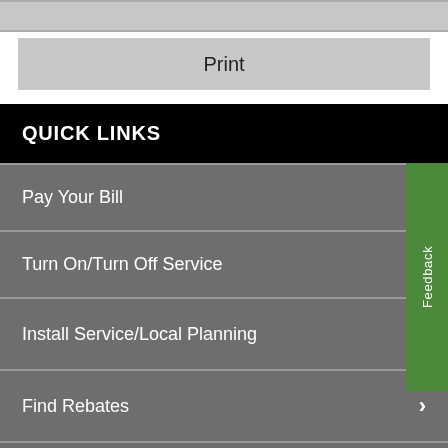Print
QUICK LINKS
Pay Your Bill
Turn On/Turn Off Service
Install Service/Local Planning
Find Rebates
Contact Us